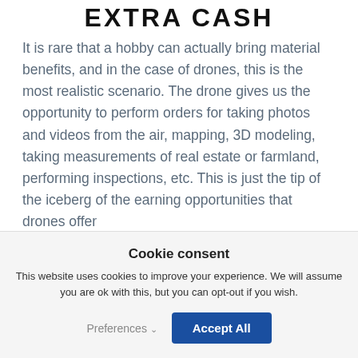EXTRA CASH
It is rare that a hobby can actually bring material benefits, and in the case of drones, this is the most realistic scenario. The drone gives us the opportunity to perform orders for taking photos and videos from the air, mapping, 3D modeling, taking measurements of real estate or farmland, performing inspections, etc. This is just the tip of the iceberg of the earning opportunities that drones offer
Cookie consent
This website uses cookies to improve your experience. We will assume you are ok with this, but you can opt-out if you wish.
Preferences  Accept All